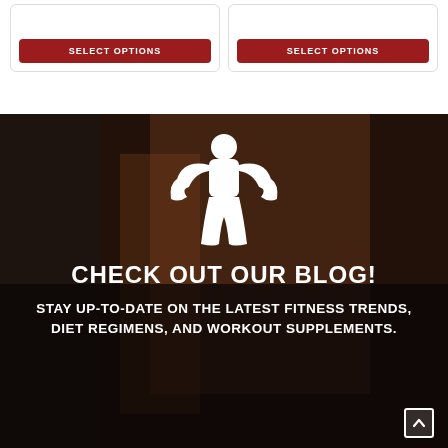[Figure (screenshot): Two product cards with red SELECT OPTIONS buttons, bordered with rounded corners, on white background]
[Figure (infographic): Dark background hero section with a white silhouette icon of a muscular person flexing, over a gym/fitness photo background]
CHECK OUT OUR BLOG!
STAY UP-TO-DATE ON THE LATEST FITNESS TRENDS, DIET REGIMENS, AND WORKOUT SUPPLEMENTS.